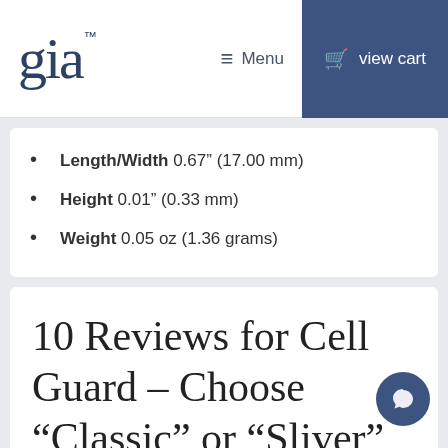gia™  ≡ Menu  view cart
Length/Width 0.67" (17.00 mm)
Height 0.01" (0.33 mm)
Weight 0.05 oz (1.36 grams)
10 Reviews for Cell Guard – Choose "Classic" or "Sliver"